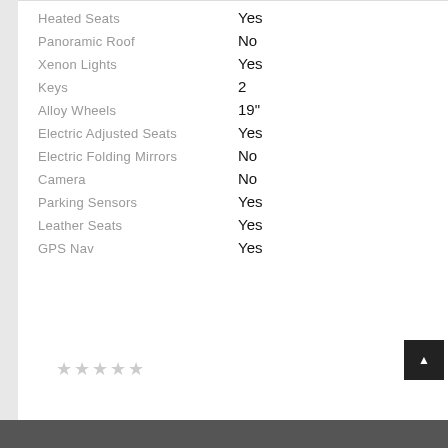| Feature | Value |
| --- | --- |
| Heated Seats | Yes |
| Panoramic Roof | No |
| Xenon Lights | Yes |
| Keys | 2 |
| Alloy Wheels | 19" |
| Electric Adjusted Seats | Yes |
| Electric Folding Mirrors | No |
| Camera | No |
| Parking Sensors | Yes |
| Leather Seats | Yes |
| GPS Nav | Yes |